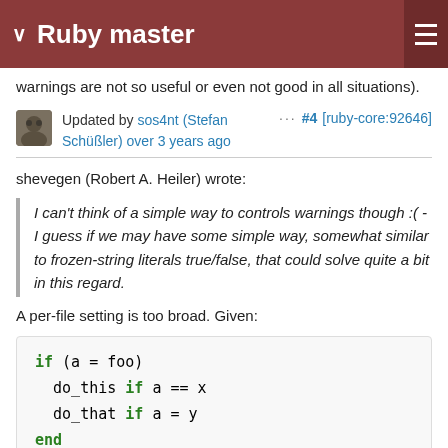Ruby master
warnings are not so useful or even not good in all situations).
Updated by sos4nt (Stefan Schüßler) over 3 years ago  ···  #4  [ruby-core:92646]
shevegen (Robert A. Heiler) wrote:
I can't think of a simple way to controls warnings though :( - I guess if we may have some simple way, somewhat similar to frozen-string literals true/false, that could solve quite a bit in this regard.
A per-file setting is too broad. Given:
if (a = foo)
  do_this if a == x
  do_that if a = y
end
I wanted Ruby to still warn me on the a = y part.